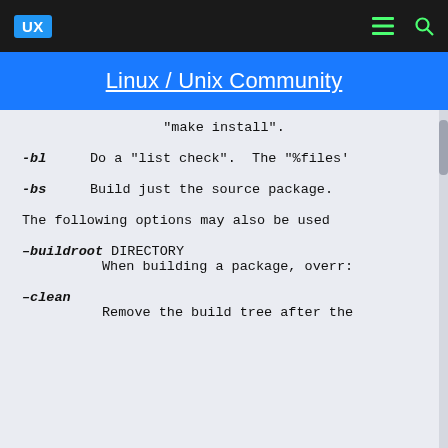UX  Linux / Unix Community
"make install".
-bl    Do a "list check".  The "%files'
-bs    Build just the source package.
The following options may also be used
--buildroot DIRECTORY
            When building a package, overr:
--clean
            Remove the build tree after the